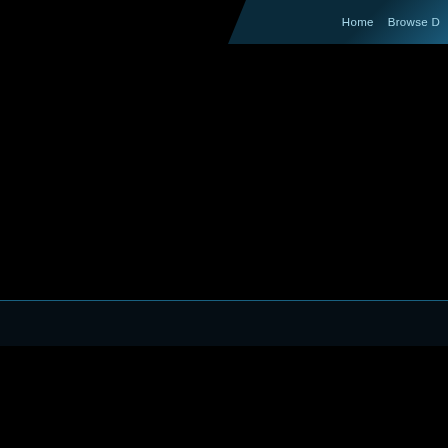Home   Browse D
[Figure (other): Dark hero/banner area with black background, part of a gaming website (Star Wars: The Old Republic fan/guide site). Navigation bar at top right with cyan-colored links 'Home' and 'Browse D' on a dark teal angled background.]
Swtor Tips & Tricks
Here's a compilation of small tips and trick that we hope will help both novice and first adventure in Star Wars: The Old Republic. We will be updating these on a once in a while.